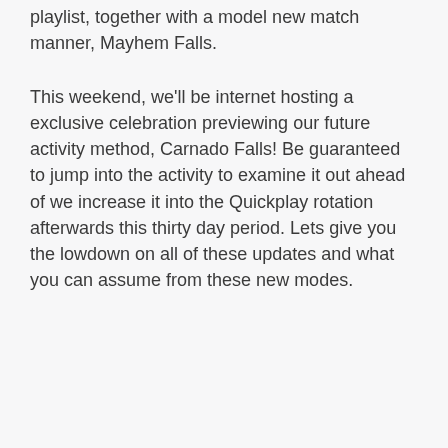playlist, together with a model new match manner, Mayhem Falls.
This weekend, we'll be internet hosting a exclusive celebration previewing our future activity method, Carnado Falls! Be guaranteed to jump into the activity to examine it out ahead of we increase it into the Quickplay rotation afterwards this thirty day period. Lets give you the lowdown on all of these updates and what you can assume from these new modes.